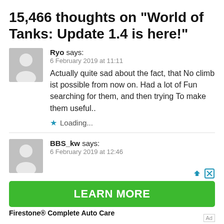15,466 thoughts on “World of Tanks: Update 1.4 is here!”
Ryo says:
6 February 2019 at 11:11
Actually quite sad about the fact, that No climb ist possible from now on. Had a lot of Fun searching for them, and then trying To make them useful..
Loading...
BBS_kw says:
6 February 2019 at 12:46
[Figure (screenshot): Advertisement banner: green LEARN MORE button for Firestone Complete Auto Care, with ad close/skip icons in top right corner]